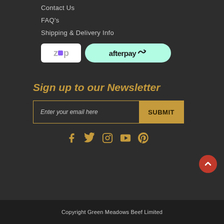Contact Us
FAQ's
Shipping & Delivery Info
[Figure (logo): Zip pay and Afterpay payment method logos side by side]
Sign up to our Newsletter
Enter your email here [SUBMIT]
[Figure (infographic): Social media icons: Facebook, Twitter, Instagram, YouTube, Pinterest]
Copyright Green Meadows Beef Limited